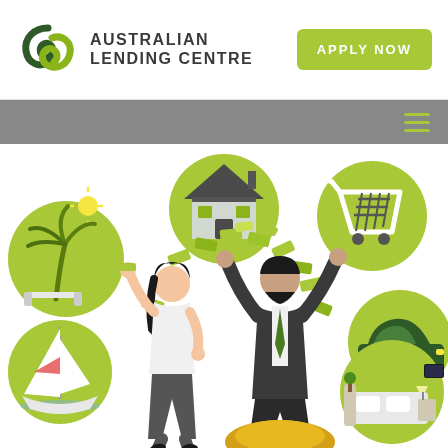[Figure (logo): Australian Lending Centre logo — two overlapping green leaf/loop shapes forming a circular icon]
AUSTRALIAN LENDING CENTRE
APPLY NOW
[Figure (illustration): Marketing illustration showing a man and woman celebrating with money/banknotes flying in the air, surrounded by green circular icons representing: vacation/beach, house/home, shopping cart, car, sailboat, and bedroom/furniture — all against a white background with the man standing on a gold mound]